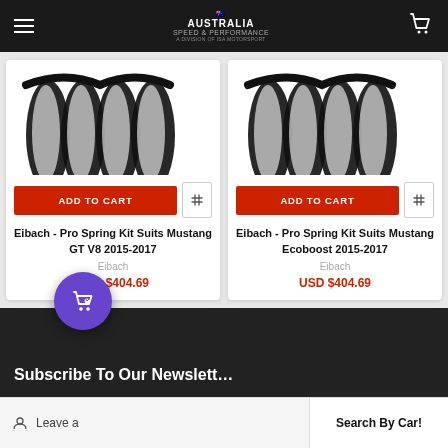Australia Speed & Performance
[Figure (photo): Eibach coil springs product image - left card]
ADD TO CART
Eibach - Pro Spring Kit Suits Mustang GT V8 2015-2017
Eibach
USD $404.69
[Figure (photo): Eibach coil springs product image - right card]
ADD TO CART
Eibach - Pro Spring Kit Suits Mustang Ecoboost 2015-2017
Eibach
USD $404.69
Subscribe To Our Newsletter
Leave a
Search By Car!